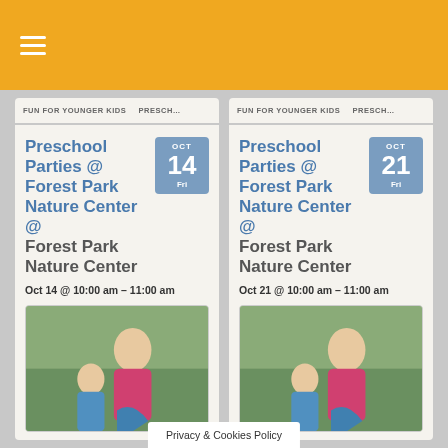≡
FUN FOR YOUNGER KIDS  PRESCH…
FUN FOR YOUNGER KIDS  PRESCH…
Preschool Parties @ Forest Park Nature Center @ Forest Park Nature Center
Oct 14 @ 10:00 am – 11:00 am
[Figure (photo): Woman and child outdoors, left card]
Preschool Parties @ Forest Park Nature Center @ Forest Park Nature Center
Oct 21 @ 10:00 am – 11:00 am
[Figure (photo): Woman and child outdoors, right card]
Privacy & Cookies Policy